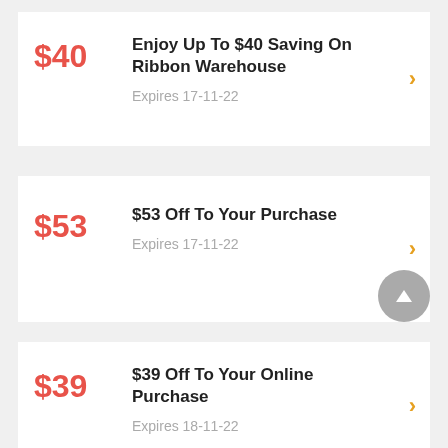$40 — Enjoy Up To $40 Saving On Ribbon Warehouse — Expires 17-11-22
$53 — $53 Off To Your Purchase — Expires 17-11-22
$39 — $39 Off To Your Online Purchase — Expires 18-11-22